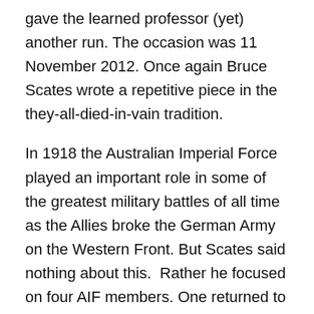gave the learned professor (yet) another run. The occasion was 11 November 2012. Once again Bruce Scates wrote a repetitive piece in the they-all-died-in-vain tradition.
In 1918 the Australian Imperial Force played an important role in some of the greatest military battles of all time as the Allies broke the German Army on the Western Front. But Scates said nothing about this.  Rather he focused on four AIF members. One returned to Australia and murdered his wife and daughter before killing himself.  The second contracted VD and committed suicide on his return home. The third also committed suicide when back in Australia.  And the fourth died of war